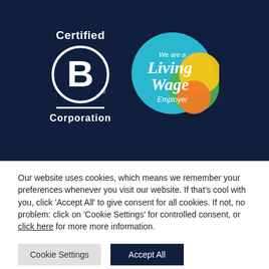[Figure (logo): Certified B Corporation logo — white circle with letter B, horizontal line, text 'Certified' above and 'Corporation' below, on dark navy background]
[Figure (logo): Living Wage Employer badge — teal/cyan circle with overlapping green, yellow and orange circles, white italic text 'We are a Living Wage Employer']
Our website uses cookies, which means we remember your preferences whenever you visit our website. If that's cool with you, click 'Accept All' to give consent for all cookies. If not, no problem: click on 'Cookie Settings' for controlled consent, or click here for more more information.
Cookie Settings
Accept All